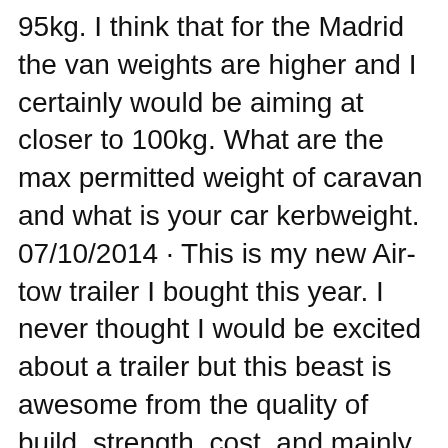95kg. I think that for the Madrid the van weights are higher and I certainly would be aiming at closer to 100kg. What are the max permitted weight of caravan and what is your car kerbweight. 07/10/2014 · This is my new Air-tow trailer I bought this year. I never thought I would be excited about a trailer but this beast is awesome from the quality of build, strength, cost, and mainly from a safety
13/04/2013 · Great little video from Pyramid with step by step instructions on how to erect a caravan awning. Kratzmann Caravans stock over 150 new and used RVs from 11 industry leading brands like Adria, Winnebago,